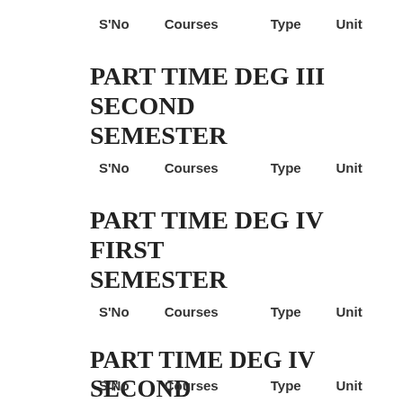| S'No | Courses | Type | Unit |
| --- | --- | --- | --- |
PART TIME DEG III SECOND SEMESTER
| S'No | Courses | Type | Unit |
| --- | --- | --- | --- |
PART TIME DEG IV FIRST SEMESTER
| S'No | Courses | Type | Unit |
| --- | --- | --- | --- |
PART TIME DEG IV SECOND SEMESTER
| S'No | Courses | Type | Unit |
| --- | --- | --- | --- |